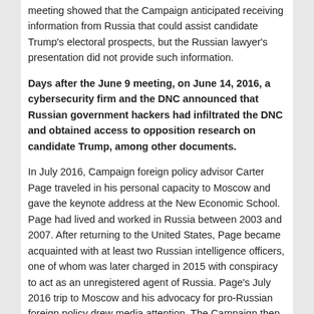meeting showed that the Campaign anticipated receiving information from Russia that could assist candidate Trump's electoral prospects, but the Russian lawyer's presentation did not provide such information.
Days after the June 9 meeting, on June 14, 2016, a cybersecurity firm and the DNC announced that Russian government hackers had infiltrated the DNC and obtained access to opposition research on candidate Trump, among other documents.
In July 2016, Campaign foreign policy advisor Carter Page traveled in his personal capacity to Moscow and gave the keynote address at the New Economic School. Page had lived and worked in Russia between 2003 and 2007. After returning to the United States, Page became acquainted with at least two Russian intelligence officers, one of whom was later charged in 2015 with conspiracy to act as an unregistered agent of Russia. Page's July 2016 trip to Moscow and his advocacy for pro-Russian foreign policy drew media attention. The Campaign then